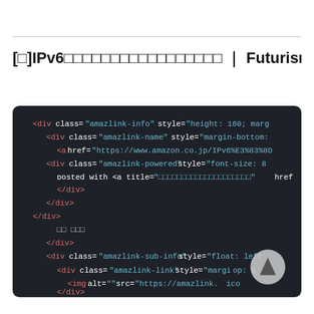[□]IPv6□□□□□□□□□□□□□□□□□ | Futurismo
[Figure (screenshot): Dark-themed code editor screenshot showing HTML markup with div elements having classes amazlink-info, amazlink-name, amazlink-powered, amazlink-detail, amazlink-sub-info, amazlink-link, with attributes and values in syntax-highlighted colors (red tags, teal strings, white text). Also shows a scroll-to-top button in the lower right corner.]